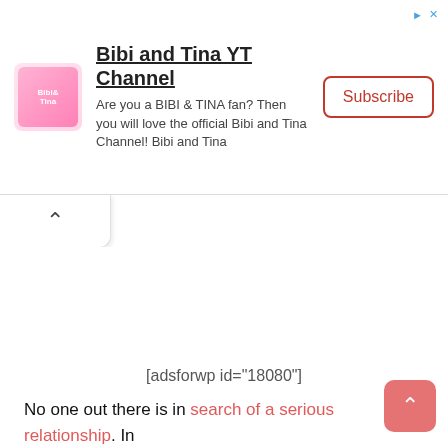[Figure (screenshot): Advertisement banner for Bibi and Tina YT Channel showing logo, title, description text, and a Subscribe button]
[adsforwp id="18080"]
No one out there is in search of a serious relationship. In